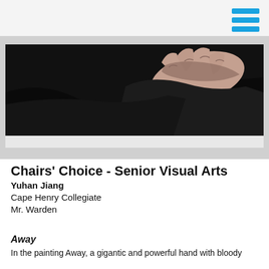[Figure (photo): A painting showing a gigantic and powerful hand with dark brushstrokes against a black background, partially visible at the upper right of the image frame.]
Chairs' Choice - Senior Visual Arts
Yuhan Jiang
Cape Henry Collegiate
Mr. Warden
Away
In the painting Away, a gigantic and powerful hand with bloody